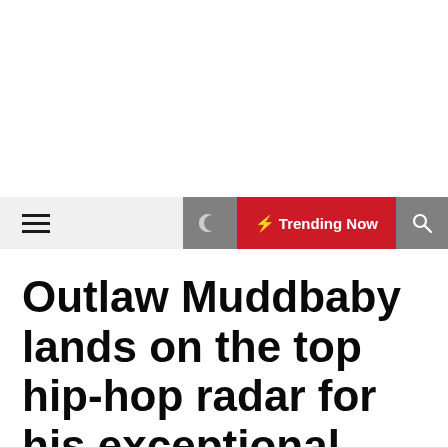☰  ☽  ⚡ Trending Now  🔍
Outlaw Muddbaby lands on the top hip-hop radar for his exceptional vocal prowess